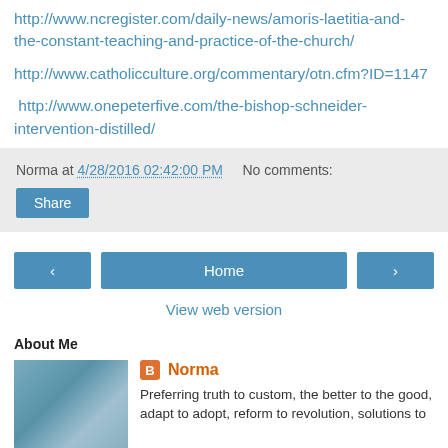http://www.ncregister.com/daily-news/amoris-laetitia-and-the-constant-teaching-and-practice-of-the-church/
http://www.catholicculture.org/commentary/otn.cfm?ID=1147
http://www.onepeterfive.com/the-bishop-schneider-intervention-distilled/
Norma at 4/28/2016 02:42:00 PM   No comments:
Share
Home
View web version
About Me
Norma
Preferring truth to custom, the better to the good, adapt to adopt, reform to revolution, solutions to